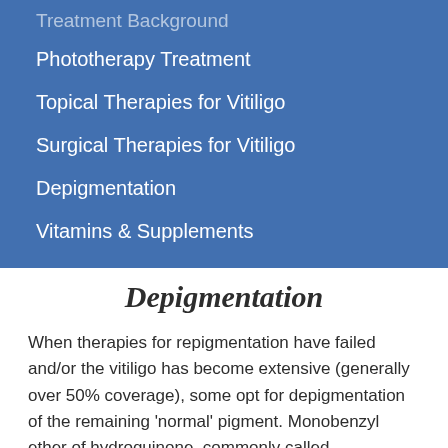Treatment Background
Phototherapy Treatment
Topical Therapies for Vitiligo
Surgical Therapies for Vitiligo
Depigmentation
Vitamins & Supplements
Depigmentation
When therapies for repigmentation have failed and/or the vitiligo has become extensive (generally over 50% coverage), some opt for depigmentation of the remaining ‘normal’ pigment. Monobenzyl ether of hydroquinone, commonly called monobenzone or mono, is used to kill the